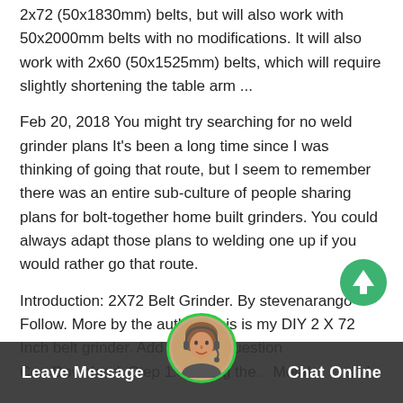2x72 (50x1830mm) belts, but will also work with 50x2000mm belts with no modifications. It will also work with 2x60 (50x1525mm) belts, which will require slightly shortening the table arm ...
Feb 20, 2018 You might try searching for no weld grinder plans It's been a long time since I was thinking of going that route, but I seem to remember there was an entire sub-culture of people sharing plans for bolt-together home built grinders. You could always adapt those plans to welding one up if you would rather go that route.
Introduction: 2X72 Belt Grinder. By stevenarango Follow. More by the author: This is my DIY 2 X 72 Inch belt grinder. Add Tip Ask Question Co... Download. Step 1: Making the... Metal....... and...
[Figure (other): Green circular scroll-to-top button with white upward arrow]
[Figure (other): Dark chat bar at bottom with Leave Message on left, Chat Online on right, and circular avatar of a woman with headset in center with green border]